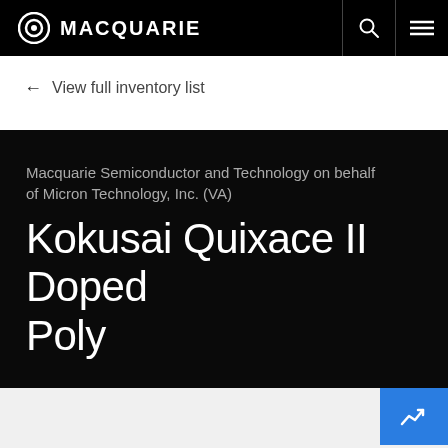MACQUARIE
← View full inventory list
Macquarie Semiconductor and Technology on behalf of Micron Technology, Inc. (VA)
Kokusai Quixace II Doped Poly